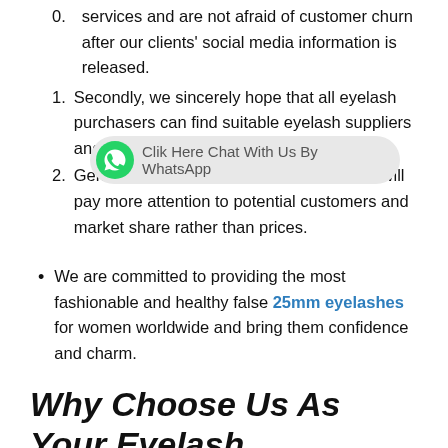services and are not afraid of customer churn after our clients' social media information is released.
2. Secondly, we sincerely hope that all eyelash purchasers can find suitable eyelash suppliers and eyelash box factories
3. Generally, ... purchaser will pay more attention to potential customers and market share rather than prices.
We are committed to providing the most fashionable and healthy false 25mm eyelashes for women worldwide and bring them confidence and charm.
[Figure (other): WhatsApp chat widget overlay: green WhatsApp icon with text 'Clik Here Chat With Us By WhatsApp' on a grey rounded pill background]
Why Choose Us As Your Eyelash Box Factory